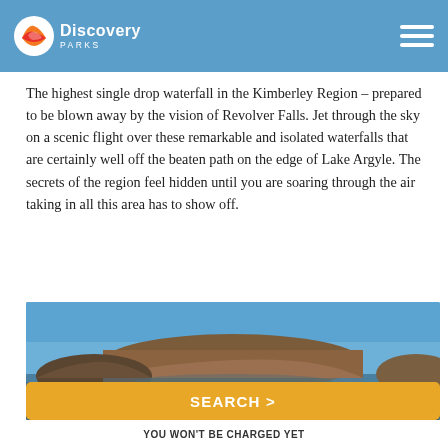Discovery Parks
The highest single drop waterfall in the Kimberley Region – prepared to be blown away by the vision of Revolver Falls. Jet through the sky on a scenic flight over these remarkable and isolated waterfalls that are certainly well off the beaten path on the edge of Lake Argyle. The secrets of the region feel hidden until you are soaring through the air taking in all this area has to show off.
[Figure (photo): Two people sitting and looking out over a calm lake with a large red mesa/plateau rock formation in the background under a clear blue sky.]
SEARCH >
YOU WON'T BE CHARGED YET